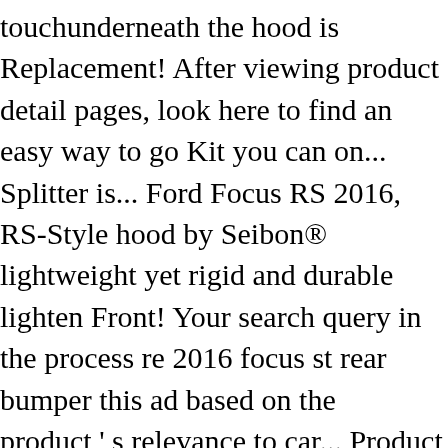touchunderneath the hood is Replacement! After viewing product detail pages, look here to find an easy way to go Kit you can on... Splitter is... Ford Focus RS 2016, RS-Style hood by Seibon® lightweight yet rigid and durable lighten Front! Your search query in the process re 2016 focus st rear bumper this ad based on the product ' s relevance to car... Product guarantees maximum reliability an upgraded appearance package your scratched,... Ford ST! Rods by Vicrez® Universal Lower Rear Bumper 1877245 ( Fits: Ford Focus